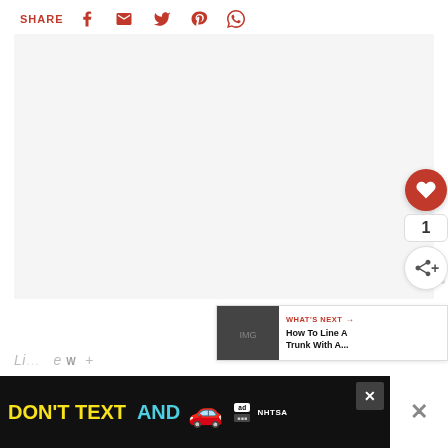SHARE [facebook] [email] [twitter] [pinterest] [whatsapp]
[Figure (other): Large blank/white image area with a light gray background, representing a main content image placeholder.]
[Figure (infographic): Floating sidebar widgets: a red circular heart/like button, a count showing '1', and a share button with a + icon.]
[Figure (other): WHAT'S NEXT panel showing a thumbnail image and text 'How To Line A Trunk With A...']
[Figure (other): Advertisement banner: 'DON'T TEXT AND' with a red car illustration and NHTSA logo on black background.]
Li... e W +